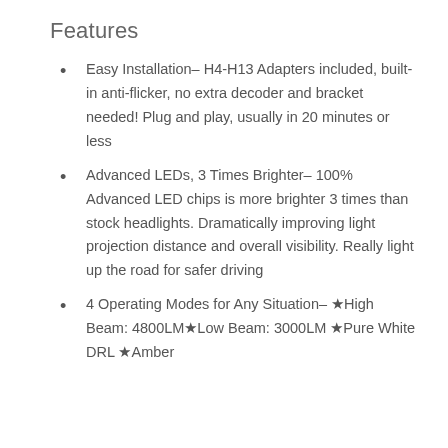Features
Easy Installation– H4-H13 Adapters included, built-in anti-flicker, no extra decoder and bracket needed! Plug and play, usually in 20 minutes or less
Advanced LEDs, 3 Times Brighter– 100% Advanced LED chips is more brighter 3 times than stock headlights. Dramatically improving light projection distance and overall visibility. Really light up the road for safer driving
4 Operating Modes for Any Situation– ★High Beam: 4800LM★Low Beam: 3000LM ★Pure White DRL ★Amber